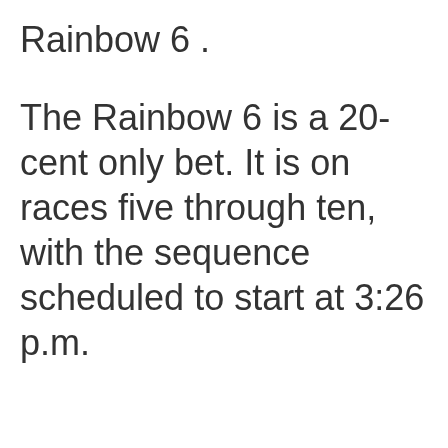Rainbow 6 .
The Rainbow 6 is a 20-cent only bet. It is on races five through ten, with the sequence scheduled to start at 3:26 p.m.